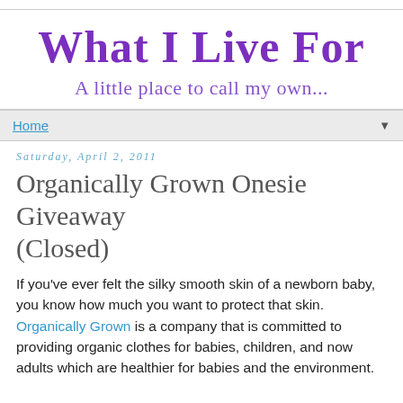What I Live For
A little place to call my own...
Home
Saturday, April 2, 2011
Organically Grown Onesie Giveaway (Closed)
If you've ever felt the silky smooth skin of a newborn baby, you know how much you want to protect that skin. Organically Grown is a company that is committed to providing organic clothes for babies, children, and now adults which are healthier for babies and the environment.